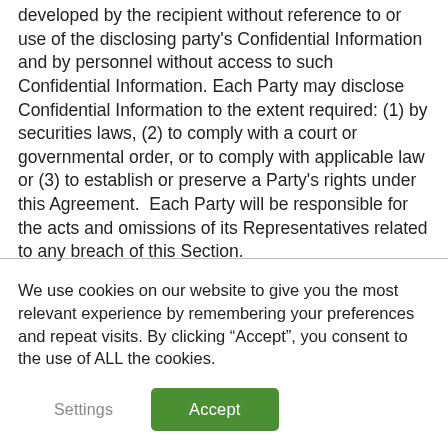developed by the recipient without reference to or use of the disclosing party's Confidential Information and by personnel without access to such Confidential Information. Each Party may disclose Confidential Information to the extent required: (1) by securities laws, (2) to comply with a court or governmental order, or to comply with applicable law or (3) to establish or preserve a Party's rights under this Agreement.  Each Party will be responsible for the acts and omissions of its Representatives related to any breach of this Section.
We use cookies on our website to give you the most relevant experience by remembering your preferences and repeat visits. By clicking “Accept”, you consent to the use of ALL the cookies.
Settings
Accept